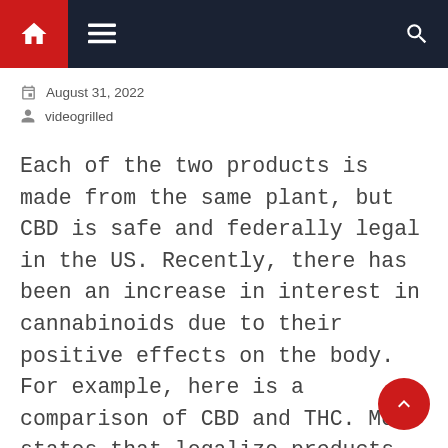Navigation bar with home, menu, and search icons
August 31, 2022
videogrilled
Each of the two products is made from the same plant, but CBD is safe and federally legal in the US. Recently, there has been an increase in interest in cannabinoids due to their positive effects on the body. For example, here is a comparison of CBD and THC. Most states that legalize products with [...]